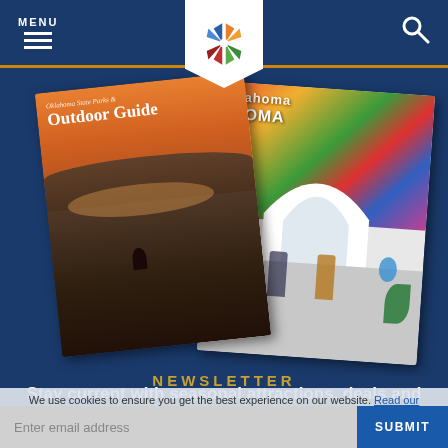MENU
[Figure (logo): Oklahoma Tourism colorful snowflake/pinwheel logo in shield shape]
[Figure (photo): Two travel brochures: Oklahoma State Parks & Outdoor Guide (showing scenic sunset over lake with person on rocks) and Oklahoma travel guide (showing people on scooters in front of colorful mural)]
NEWSLETTER
Stay current with seasonal attractions, deals and more.
We use cookies to ensure you get the best experience on our website. Read our privacy policy to learn more.
I Agree
Enter email address
SUBMIT